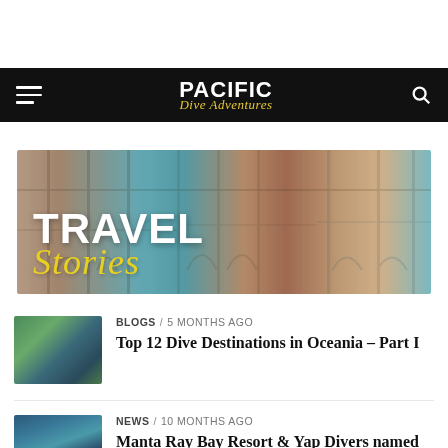PACIFIC Dive Adventures
[Figure (illustration): Travel Stories banner image showing colorful colonial building facades with arched windows and balconies. Large white bold text reads TRAVEL and yellow cursive text reads Stories overlaid on the image.]
BLOGS / 5 months ago
Top 12 Dive Destinations in Oceania – Part I
[Figure (photo): Aerial thumbnail photo of a coral island surrounded by turquoise ocean water]
NEWS / 10 months ago
Manta Ray Bay Resort & Yap Divers named #1 Value Resort
[Figure (photo): Aerial thumbnail photo of a coastal town or bay with lush green vegetation and blue water]